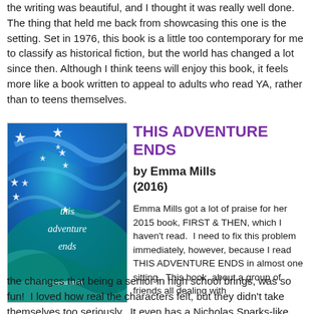the writing was beautiful, and I thought it was really well done.  The thing that held me back from showcasing this one is the setting.  Set in 1976, this book is a little too contemporary for me to classify as historical fiction, but the world has changed a lot since then.  Although I think teens will enjoy this book, it feels more like a book written to appeal to adults who read YA, rather than to teens themselves.
[Figure (illustration): Book cover for 'This Adventure Ends' by Emma Mills, featuring swirling blue and teal paint with white star shapes scattered throughout. The title and author name are written in white cursive/script text on the cover.]
THIS ADVENTURE ENDS
by Emma Mills (2016)
Emma Mills got a lot of praise for her 2015 book, FIRST & THEN, which I haven't read.  I need to fix this problem immediately, however, because I read THIS ADVENTURE ENDS in almost one sitting.  This book, about a group of friends all dealing with the changes that being a senior in high school brings, was so fun!  I loved how real the characters felt, but they didn't take themselves too seriously.  It even has a Nicholas Sparks-like character that loses his motivation to write, and finds it again